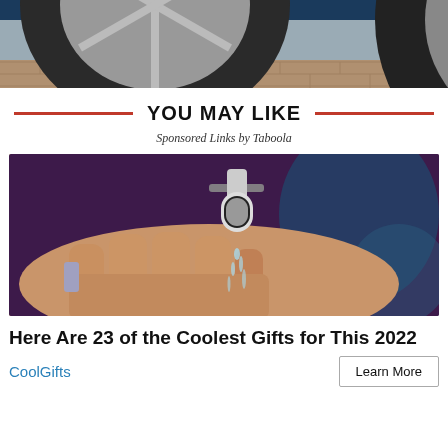[Figure (photo): Close-up of a car wheel/tire on a brick surface, partially visible at top of page.]
YOU MAY LIKE
Sponsored Links by Taboola
[Figure (photo): A hand holding a small faucet/water device with water flowing, dark background with purple/blue tones.]
Here Are 23 of the Coolest Gifts for This 2022
CoolGifts